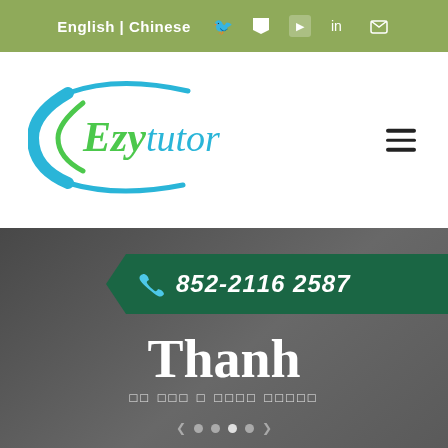English | Chinese
[Figure (logo): EzyTutor logo with cyan/green arc and italic script lettering]
852-2116 2587
Thanh
Chinese character subtitle text